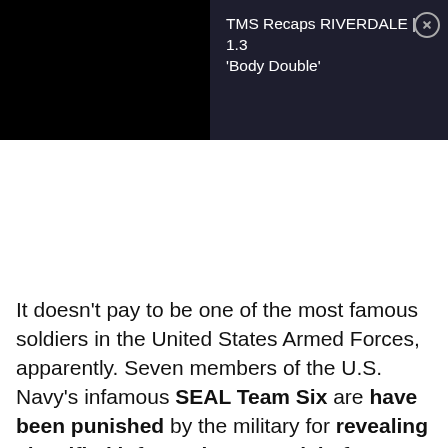[Figure (screenshot): Dark navy/black advertisement banner with black video thumbnail on the left and text 'TMS Recaps RIVERDALE | 1.3 ‘Body Double’' on the right with a close button]
It doesn’t pay to be one of the most famous soldiers in the United States Armed Forces, apparently. Seven members of the U.S. Navy’s infamous SEAL Team Six are have been punished by the military for revealing classified information to Medal of